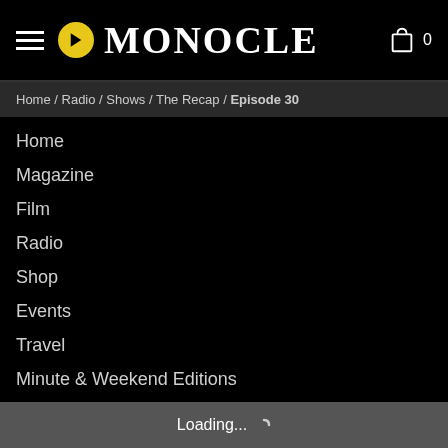MONOCLE
Home / Radio / Shows / The Recap / Episode 30
Home
Magazine
Film
Radio
Shop
Events
Travel
Minute & Weekend Editions
The Monocle Café – London
Affairs
Business
Culture
Design
Edits
Loading...